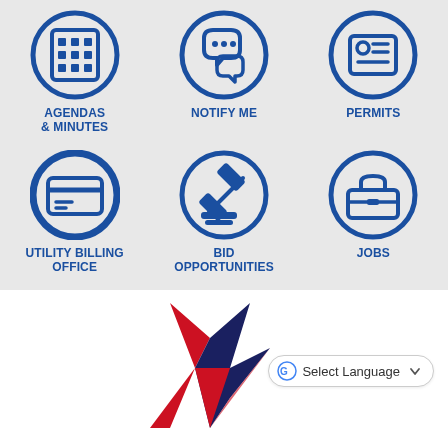[Figure (infographic): Six icon buttons arranged in a 3x2 grid on a light gray background. Row 1: Agendas & Minutes (calendar grid icon in blue circle), Notify Me (speech bubbles icon in blue circle), Permits (ID card icon in blue circle). Row 2: Utility Billing Office (credit card icon in blue circle - highlighted with thicker border), Bid Opportunities (gavel icon in blue circle), Jobs (toolbox icon in blue circle).]
AGENDAS & MINUTES
NOTIFY ME
PERMITS
UTILITY BILLING OFFICE
BID OPPORTUNITIES
JOBS
[Figure (logo): Red, white and blue star/checkmark logo (patriotic star design in red and navy blue)]
Select Language